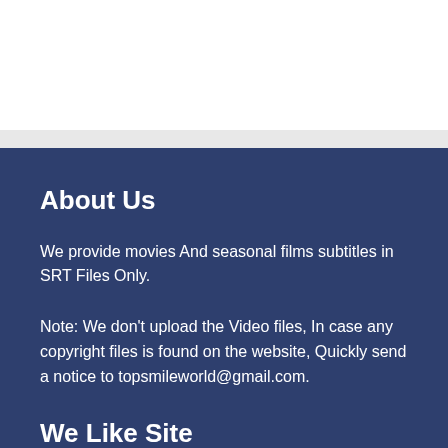About Us
We provide movies And seasonal films subtitles in SRT Files Only.
Note: We don’t upload the Video files, In case any copyright files is found on the website, Quickly send a notice to topsmileworld@gmail.com.
We Like Site